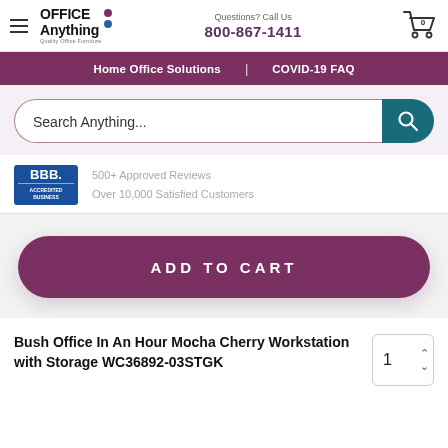OFFICE Anything | Questions? Call Us 800-867-1411
Home Office Solutions | COVID-19 FAQ
Search Anything...
[Figure (logo): BBB Accredited Business badge]
500+ Approved Reviews
Over 10,000 Satisfied Customers
ADD TO CART
Bush Office In An Hour Mocha Cherry Workstation with Storage WC36892-03STGK
1